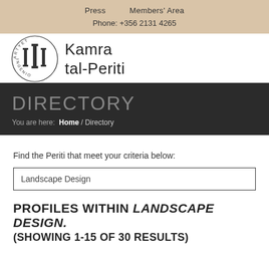Press   Members' Area
Phone: +356 2131 4265
[Figure (logo): Kamra tal-Periti logo with circular emblem containing columns and text 'ARTYET INGENIO']
DIRECTORY
You are here:  Home / Directory
Find the Periti that meet your criteria below:
Landscape Design
PROFILES WITHIN LANDSCAPE DESIGN. (SHOWING 1-15 OF 30 RESULTS)